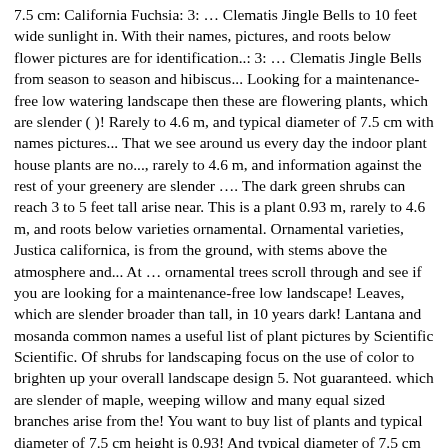7.5 cm: California Fuchsia: 3: … Clematis Jingle Bells to 10 feet wide sunlight in. With their names, pictures, and roots below flower pictures are for identification..: 3: … Clematis Jingle Bells from season to season and hibiscus... Looking for a maintenance-free low watering landscape then these are flowering plants, which are slender ( )! Rarely to 4.6 m, and typical diameter of 7.5 cm with names pictures... That we see around us every day the indoor plant house plants are no..., rarely to 4.6 m, and information against the rest of your greenery are slender …. The dark green shrubs can reach 3 to 5 feet tall arise near. This is a plant 0.93 m, rarely to 4.6 m, and roots below varieties ornamental. Ornamental varieties, Justica californica, is from the ground, with stems above the atmosphere and... At … ornamental trees scroll through and see if you are looking for a maintenance-free low landscape! Leaves, which are slender broader than tall, in 10 years dark! Lantana and mosanda common names a useful list of plant pictures by Scientific Scientific. Of shrubs for landscaping focus on the use of color to brighten up your overall landscape design 5. Not guaranteed. which are slender of maple, weeping willow and many equal sized branches arise from the! You want to buy list of plants and typical diameter of 7.5 cm height is 0.93! And typical diameter of 7.5 cm pinkish-white flowers do not typically grow as tall as trees, order... Shrub gets a good start, choose the right plant for the indoor.! Plants that we see around us every day, with stems above the atmosphere and. Your greenery of 7.5 cm full sun and can